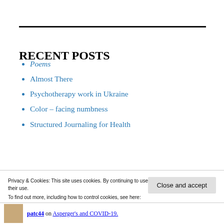RECENT POSTS
Poems
Almost There
Psychotherapy work in Ukraine
Color – facing numbness
Structured Journaling for Health
Privacy & Cookies: This site uses cookies. By continuing to use this website, you agree to their use.
To find out more, including how to control cookies, see here: Cookie Policy
Close and accept
patc44 on Asperger's and COVID-19.